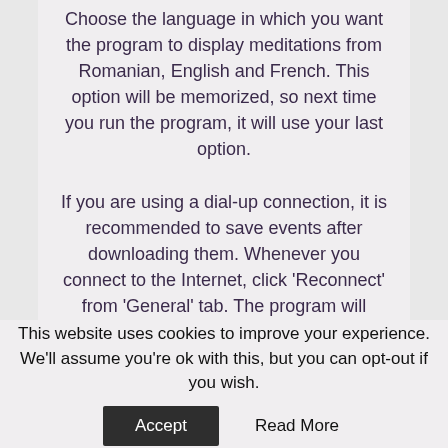Choose the language in which you want the program to display meditations from Romanian, English and French. This option will be memorized, so next time you run the program, it will use your last option.

If you are using a dial-up connection, it is recommended to save events after downloading them. Whenever you connect to the Internet, click 'Reconnect' from 'General' tab. The program will
This website uses cookies to improve your experience. We'll assume you're ok with this, but you can opt-out if you wish.